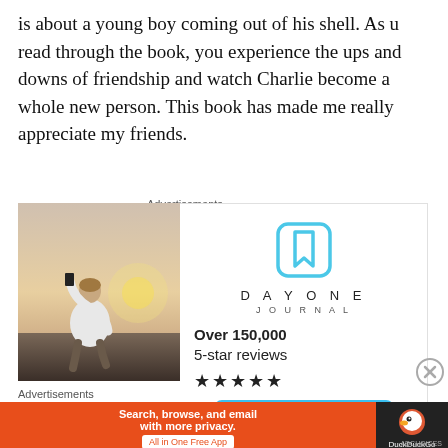is about a young boy coming out of his shell. As u read through the book, you experience the ups and downs of friendship and watch Charlie become a whole new person. This book has made me really appreciate my friends.
Advertisements
[Figure (photo): Person sitting on rocks photographing a sunset, viewed from behind, wearing white t-shirt]
[Figure (infographic): Day One Journal app advertisement showing app icon, name, Over 150,000 5-star reviews, five stars, and Get the app button]
Advertisements
[Figure (infographic): DuckDuckGo advertisement: Search, browse, and email with more privacy. All in One Free App. DuckDuckGo logo on dark background.]